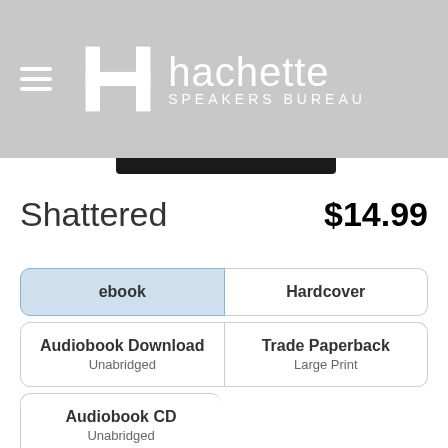[Figure (logo): Hachette Speakers Bureau logo with H symbol and hamburger menu icon on gray background]
Shattered
$14.99
| ebook | Hardcover |
| Audiobook Download
Unabridged | Trade Paperback
Large Print |
| Audiobook CD
Unabridged |  |